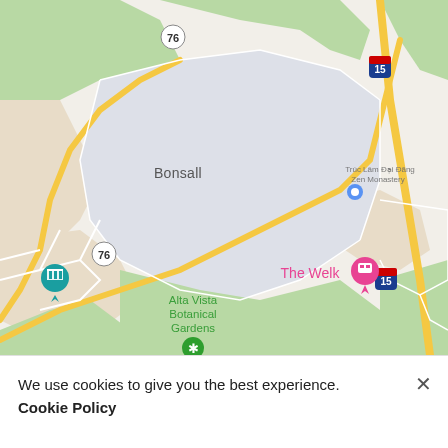[Figure (map): Google Maps screenshot showing the Bonsall area in California near Interstate 15 and Highway 76. Visible landmarks include Truc Lam Dai Duong Zen Monastery, Alta Vista Botanical Gardens, and The Welk resort. A museum pin marker and a botanical gardens marker are visible.]
We use cookies to give you the best experience.
Cookie Policy